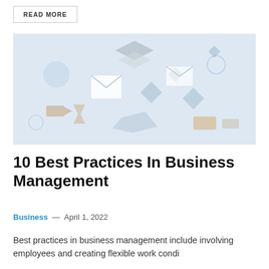READ MORE
[Figure (illustration): A light blue-tinted illustration with floating geometric shapes, envelopes, arrows, and abstract icons representing business management concepts.]
10 Best Practices In Business Management
Business — April 1, 2022
Best practices in business management include involving employees and creating flexible work conditions